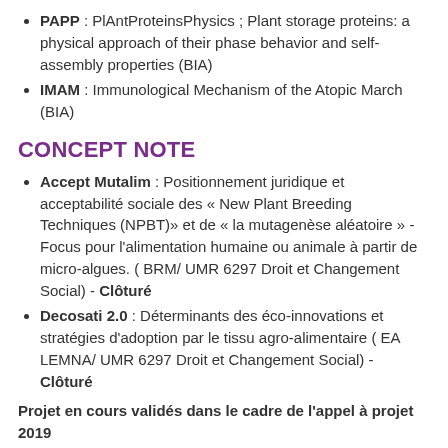PAPP : PlAntProteinsPhysics ; Plant storage proteins: a physical approach of their phase behavior and self-assembly properties (BIA)
IMAM : Immunological Mechanism of the Atopic March (BIA)
CONCEPT NOTE
Accept Mutalim : Positionnement juridique et acceptabilité sociale des « New Plant Breeding Techniques (NPBT)» et de « la mutagenèse aléatoire » - Focus pour l'alimentation humaine ou animale à partir de micro-algues. ( BRM/ UMR 6297 Droit et Changement Social) - Clôturé
Decosati 2.0 : Déterminants des éco-innovations et stratégies d'adoption par le tissu agro-alimentaire ( EA LEMNA/ UMR 6297 Droit et Changement Social) - Clôturé
Projet en cours validés dans le cadre de l'appel à projet 2019
BBSAIN : BéBé et Santé Alimentaire,